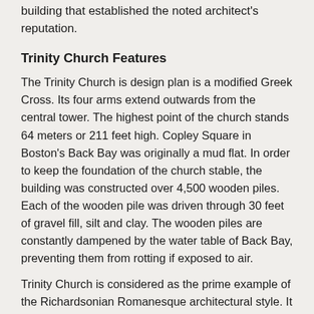building that established the noted architect's reputation.
Trinity Church Features
The Trinity Church is design plan is a modified Greek Cross. Its four arms extend outwards from the central tower. The highest point of the church stands 64 meters or 211 feet high. Copley Square in Boston's Back Bay was originally a mud flat. In order to keep the foundation of the church stable, the building was constructed over 4,500 wooden piles. Each of the wooden pile was driven through 30 feet of gravel fill, silt and clay. The wooden piles are constantly dampened by the water table of Back Bay, preventing them from rotting if exposed to air.
Trinity Church is considered as the prime example of the Richardsonian Romanesque architectural style. It